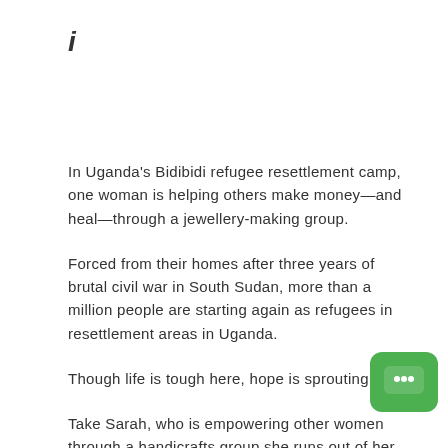i
In Uganda's Bidibidi refugee resettlement camp, one woman is helping others make money—and heal—through a jewellery-making group.
Forced from their homes after three years of brutal civil war in South Sudan, more than a million people are starting again as refugees in resettlement areas in Uganda.
Though life is tough here, hope is sprouting.
Take Sarah, who is empowering other women through a handicrafts group she runs out of her home. She knows only too well how easy it is to lose sight of hope when war has taken your loved ones and forced you to leave...